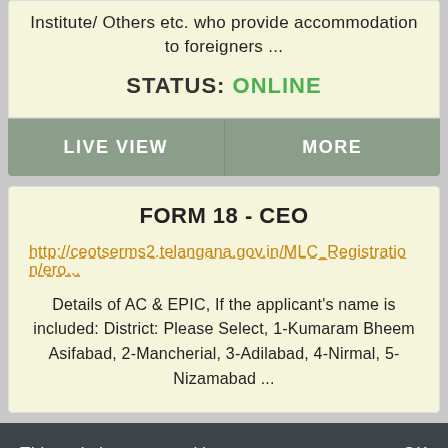Institute/ Others etc. who provide accommodation to foreigners ...
STATUS: ONLINE
LIVE VIEW
MORE
FORM 18 - CEO
http://ceotserms2.telangana.gov.in/MLC_Registration/ero...
Details of AC & EPIC, If the applicant's name is included: District: Please Select, 1-Kumaram Bheem Asifabad, 2-Mancherial, 3-Adilabad, 4-Nirmal, 5-Nizamabad ...
This website uses cookies to ensure you get the best experience on our website. If you continue browsing, we consider that you accept their use